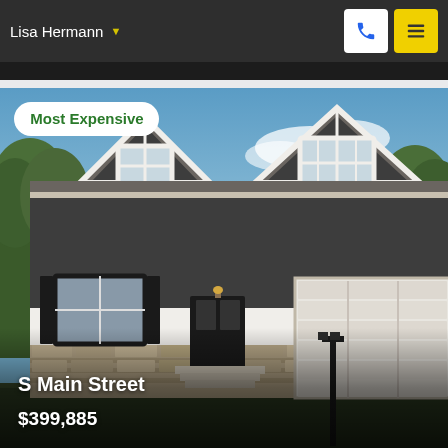Lisa Hermann
[Figure (photo): Exterior photo of a craftsman-style house with dark gray and white siding, two peaked gable dormers with decorative trim, large front windows with shutters, stone base, and an attached two-car garage. Sky is blue with light clouds. Badge overlay reads 'Most Expensive'.]
S Main Street
$399,885